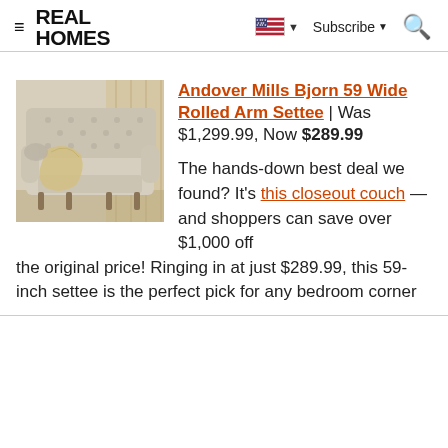REAL HOMES — Subscribe — Search
[Figure (photo): Tufted beige settee/love seat with a draped cream blanket, on wooden legs, against a light background.]
Andover Mills Bjorn 59 Wide Rolled Arm Settee | Was $1,299.99, Now $289.99
The hands-down best deal we found? It's this closeout couch — and shoppers can save over $1,000 off the original price! Ringing in at just $289.99, this 59-inch settee is the perfect pick for any bedroom corner